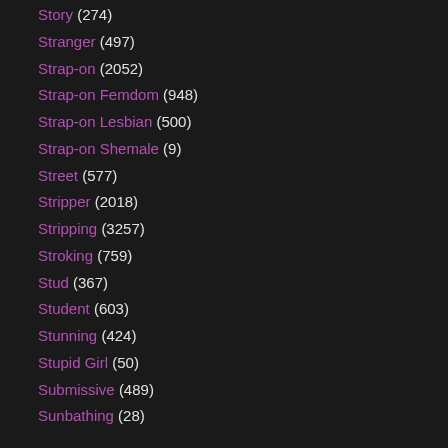Story (274)
Stranger (497)
Strap-on (2052)
Strap-on Femdom (948)
Strap-on Lesbian (500)
Strap-on Shemale (9)
Street (577)
Stripper (2018)
Stripping (3257)
Stroking (759)
Stud (367)
Student (603)
Stunning (424)
Stupid Girl (50)
Submissive (489)
Sunbathing (28)